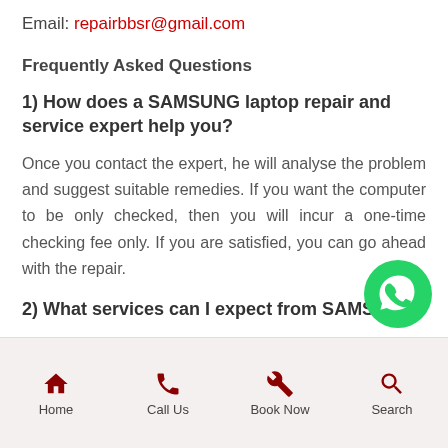Email: repairbbsr@gmail.com
Frequently Asked Questions
1) How does a SAMSUNG laptop repair and service expert help you?
Once you contact the expert, he will analyse the problem and suggest suitable remedies. If you want the computer to be only checked, then you will incur a one-time checking fee only. If you are satisfied, you can go ahead with the repair.
2) What services can I expect from SAMSUNG
Home   Call Us   Book Now   Search